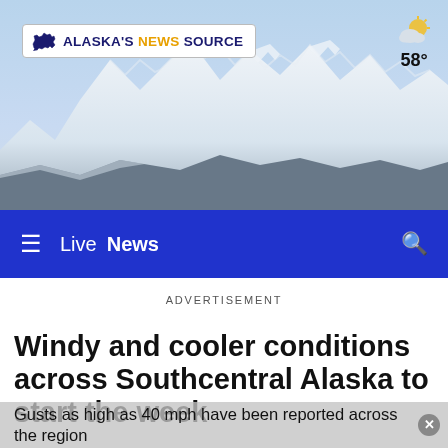[Figure (photo): Snowy mountain range background with blue sky, used as website header photo]
Alaska's News Source — Live News — 58°
ADVERTISEMENT
Windy and cooler conditions across Southcentral Alaska to start the week
Gusts as high as 40 mph have been reported across the region